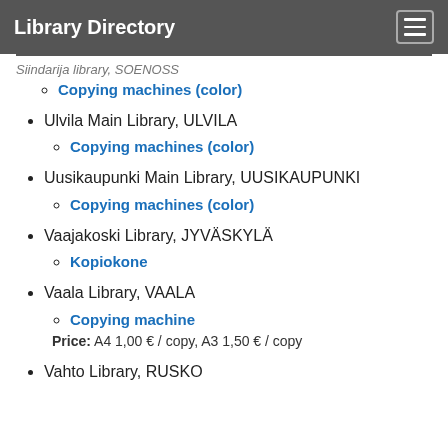Library Directory
Siindarija library, SOENOSS
Copying machines (color)
Ulvila Main Library, ULVILA
Copying machines (color)
Uusikaupunki Main Library, UUSIKAUPUNKI
Copying machines (color)
Vaajakoski Library, JYVÄSKYLÄ
Kopiokone
Vaala Library, VAALA
Copying machine
Price: A4 1,00 € / copy, A3 1,50 € / copy
Vahto Library, RUSKO